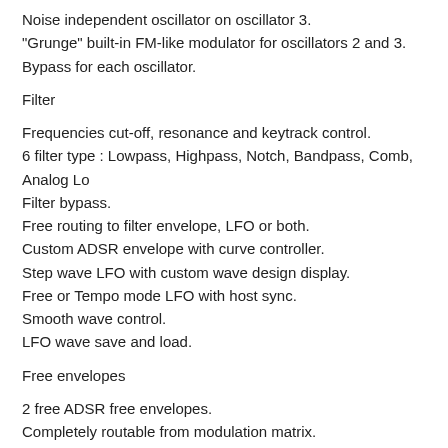Noise independent oscillator on oscillator 3.
"Grunge" built-in FM-like modulator for oscillators 2 and 3.
Bypass for each oscillator.
Filter
Frequencies cut-off, resonance and keytrack control.
6 filter type : Lowpass, Highpass, Notch, Bandpass, Comb, Analog Lo
Filter bypass.
Free routing to filter envelope, LFO or both.
Custom ADSR envelope with curve controller.
Step wave LFO with custom wave design display.
Free or Tempo mode LFO with host sync.
Smooth wave control.
LFO wave save and load.
Free envelopes
2 free ADSR free envelopes.
Completely routable from modulation matrix.
Amount control from negative to positive.
Free LFOs